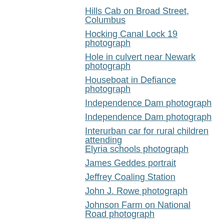Hills Cab on Broad Street, Columbus
Hocking Canal Lock 19 photograph
Hole in culvert near Newark photograph
Houseboat in Defiance photograph
Independence Dam photograph
Independence Dam photograph
Interurban car for rural children attending Elyria schools photograph
James Geddes portrait
Jeffrey Coaling Station
John J. Rowe photograph
Johnson Farm on National Road photograph
Junction City, Ohio postcard
Kirkersville covered bridge postcard
Kirkersville Main Street postcard
Kirkersville Main Street postcard
Kirkersville Third Street postcard